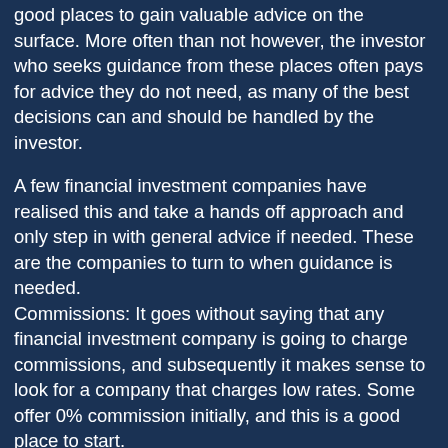good places to gain valuable advice on the surface. More often than not however, the investor who seeks guidance from these places often pays for advice they do not need, as many of the best decisions can and should be handled by the investor.
A few financial investment companies have realised this and take a hands off approach and only step in with general advice if needed. These are the companies to turn to when guidance is needed.
Commissions: It goes without saying that any financial investment company is going to charge commissions, and subsequently it makes sense to look for a company that charges low rates. Some offer 0% commission initially, and this is a good place to start.
Risk vs. Return: Any investment into the emerging market is high risk. The returns however, have the potential to be considerable and subsequently an emerging market investment becomes a viable option. It is possible to invest in a country or into a fund which in turn is managed by a fund manager.